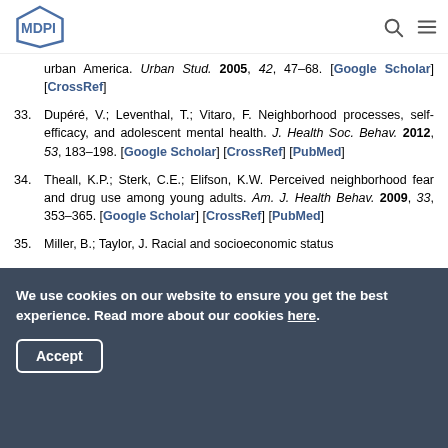MDPI
urban America. Urban Stud. 2005, 42, 47–68. [Google Scholar] [CrossRef]
33. Dupéré, V.; Leventhal, T.; Vitaro, F. Neighborhood processes, self-efficacy, and adolescent mental health. J. Health Soc. Behav. 2012, 53, 183–198. [Google Scholar] [CrossRef] [PubMed]
34. Theall, K.P.; Sterk, C.E.; Elifson, K.W. Perceived neighborhood fear and drug use among young adults. Am. J. Health Behav. 2009, 33, 353–365. [Google Scholar] [CrossRef] [PubMed]
35. Miller, B.; Taylor, J. Racial and socioeconomic status
We use cookies on our website to ensure you get the best experience. Read more about our cookies here. Accept